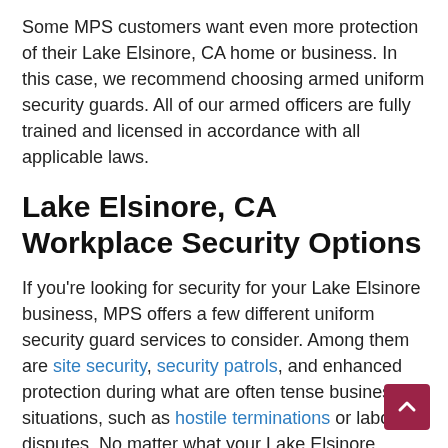Some MPS customers want even more protection of their Lake Elsinore, CA home or business. In this case, we recommend choosing armed uniform security guards. All of our armed officers are fully trained and licensed in accordance with all applicable laws.
Lake Elsinore, CA Workplace Security Options
If you're looking for security for your Lake Elsinore business, MPS offers a few different uniform security guard services to consider. Among them are site security, security patrols, and enhanced protection during what are often tense business situations, such as hostile terminations or labor disputes. No matter what your Lake Elsinore business needs regarding protection, our uniform